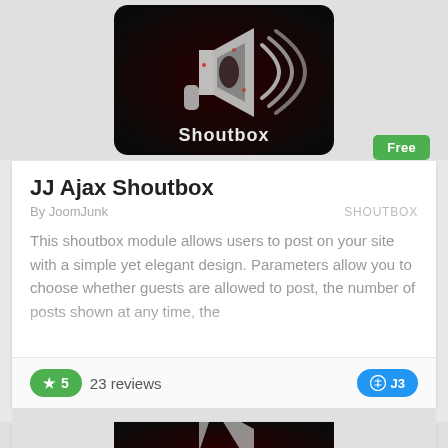[Figure (screenshot): Shoutbox app icon — dark rounded square with a white megaphone/loudspeaker silhouette with sound waves, red dot highlights, and 'Shoutbox' text in white at the bottom]
Free
JJ Ajax Shoutbox
By JoomJunk
SHOUTBOX
This shoutbox module allows users to post on your site with a simple yet elegant design. Parameters allow you to choose whether guests are allowed to post, the number of posts shown at any time, the
★ 5   23 reviews
J3
[Figure (screenshot): Second Shoutbox app icon partially visible at the bottom of the page]